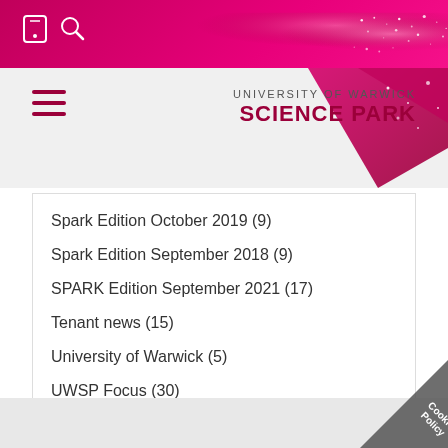[Figure (screenshot): University of Warwick Science Park website header with pink/magenta sparkle background, phone and search icons, hamburger menu, and logo text]
UNIVERSITY OF WARWICK SCIENCE PARK
Spark Edition October 2019 (9)
Spark Edition September 2018 (9)
SPARK Edition September 2021 (17)
Tenant news (15)
University of Warwick (5)
UWSP Focus (30)
Workshops (2)